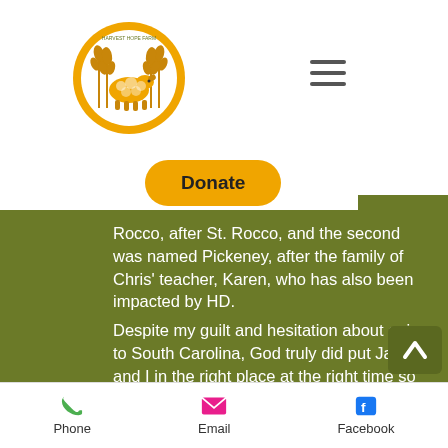[Figure (logo): Harvest Hope Farm logo — circular badge with wheat stalks and a sheep silhouette in gold/yellow tones]
[Figure (other): Hamburger menu icon — three horizontal lines]
[Figure (other): Donate button — yellow/gold pill-shaped button with bold text 'Donate']
n SGCS t the wo
Rocco, after St. Rocco, and the second was named Pickeney, after the family of Chris' teacher, Karen, who has also been impacted by HD.
Despite my guilt and hesitation about going to South Carolina, God truly did put Jason and I in the right place at the right time so that our path could cross with Chris'. He allowed us to provide hope to another family impacted by HD and allowed SGGCS to be a blessing to
Phone   Email   Facebook